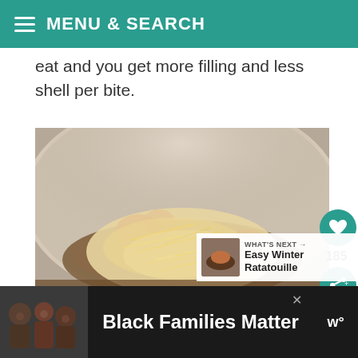MENU & SEARCH
eat and you get more filling and less shell per bite.
[Figure (photo): Close-up photo of a tortilla/taco shell topped with shredded cheese and salsa/tomatoes.]
[Figure (photo): Thumbnail of Easy Winter Ratatouille dish]
WHAT'S NEXT → Easy Winter Ratatouille
185
[Figure (photo): Advertisement banner showing Black Families Matter with a family photo]
Black Families Matter